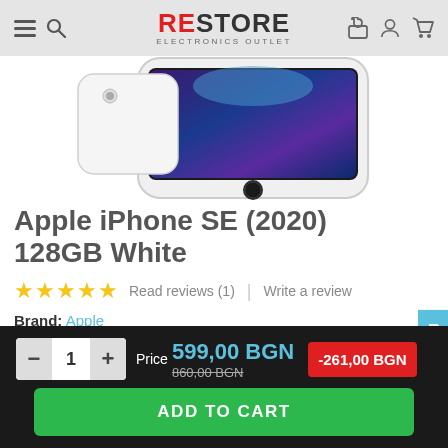RESTORE ELECTRONICS OUTLET
[Figure (photo): Apple iPhone SE (2020) in White color, showing top portion of the device with screen and home button visible]
Apple iPhone SE (2020) 128GB White
★★★★★ Read reviews (1) | Write a review
Brand: Apple
Condition: Demonstration
Warranty : 24 months
Note : Included with the phone are our branded box, data cable,
Price 599,00 BGN  860,00 BGN  -261,00 BGN  ADD TO CART